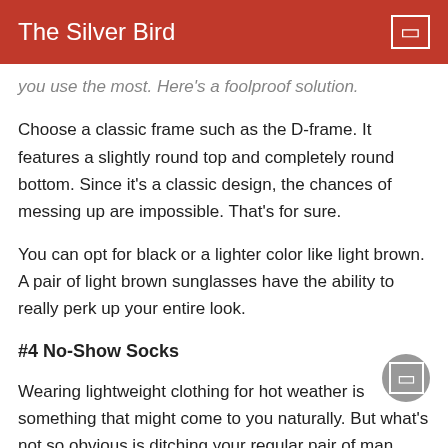The Silver Bird
you use the most. Here's a foolproof solution.
Choose a classic frame such as the D-frame. It features a slightly round top and completely round bottom. Since it's a classic design, the chances of messing up are impossible. That's for sure.
You can opt for black or a lighter color like light brown. A pair of light brown sunglasses have the ability to really perk up your entire look.
#4 No-Show Socks
Wearing lightweight clothing for hot weather is something that might come to you naturally. But what's not so obvious is ditching your regular pair of man socks. But that doesn't mean going sockless. The sockless look does seem like a cool and effortless style. However it's also a little gross. No doubt